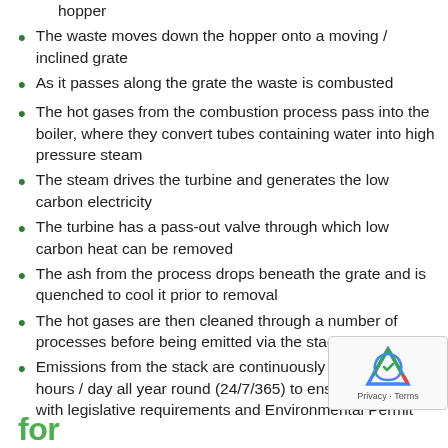hopper
The waste moves down the hopper onto a moving / inclined grate
As it passes along the grate the waste is combusted
The hot gases from the combustion process pass into the boiler, where they convert tubes containing water into high pressure steam
The steam drives the turbine and generates the low carbon electricity
The turbine has a pass-out valve through which low carbon heat can be removed
The ash from the process drops beneath the grate and is quenched to cool it prior to removal
The hot gases are then cleaned through a number of processes before being emitted via the stack
Emissions from the stack are continuously monitored 24 hours / day all year round (24/7/365) to ensure compliance with legislative requirements and Environmental Permit